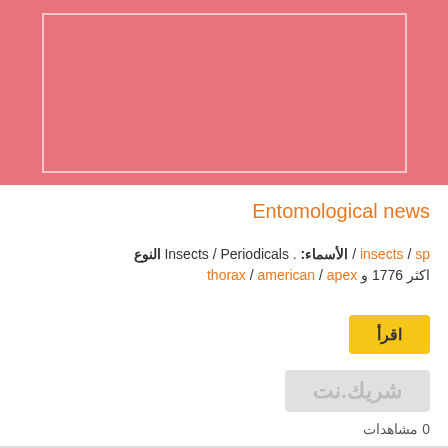[Figure (illustration): Pink/salmon colored rectangular image placeholder with a white border outline inside]
Entomological news
النوع Periodicals / Insects . الأسماء: / sp / insects
apex / american / thorax و 1776 اكثر
اقرأ
[Figure (illustration): Small gray thumbnail with light Arabic script watermark text]
0 مشاهدات